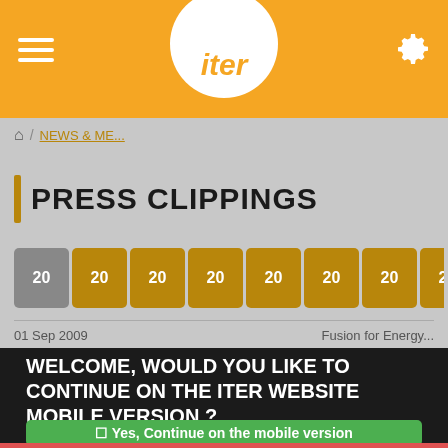[Figure (screenshot): ITER website mobile header with orange background, hamburger menu icon on left, ITER logo (white circle with orange italic 'iter' text) in center, gear/settings icon on right]
iter
NEWS & ME...
PRESS CLIPPINGS
20 20 20 20 20 20 20 20 20 20 20 20 20 20 (year tabs)
01 Sep 2009 ... Fusion for Energy...
WELCOME, WOULD YOU LIKE TO CONTINUE ON THE ITER WEBSITE MOBILE VERSION ?
☐ Yes, Continue on the mobile version
☐ No, continue on the desktop version